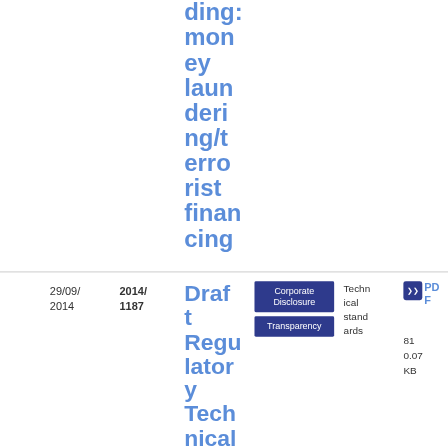ding: money laundering/terrorist financing
29/09/2014
2014/1187
Draft Regulatory Technical Standards on maio
Corporate Disclosure
Transparency
Technical standards
PDF
81
0.07
KB